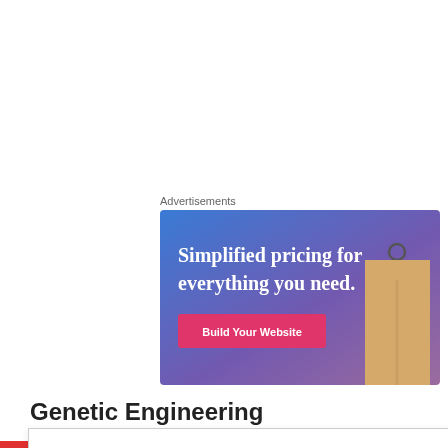Advertisements
[Figure (illustration): Advertisement banner with blue-to-purple gradient background, white serif text reading 'Simplified pricing for everything you need.', a pink 'Build Your Website' button, and a decorative price tag image on the right.]
Genetic Engineering
Privacy & Cookies: This site uses cookies. By continuing to use this website, you agree to their use.
To find out more, including how to control cookies, see here: Cookie Policy
Close and accept